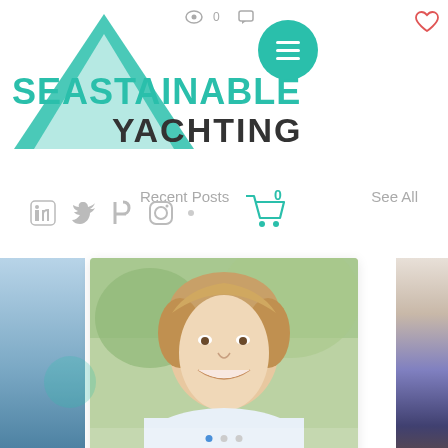[Figure (screenshot): Seastainable Yachting website screenshot showing logo with teal triangle, brand name, hamburger menu circle, social media icons (LinkedIn, Twitter, Facebook, Instagram), shopping cart with 0 count, Recent Posts navigation with See All link, a featured blog post card titled Q&A with Sustainable Shane with photo of smiling young man, view count 102, comment count 0, heart/like icon, and pagination dots at bottom.]
Q&A with Sustainable Shane
Recent Posts
See All
102
0